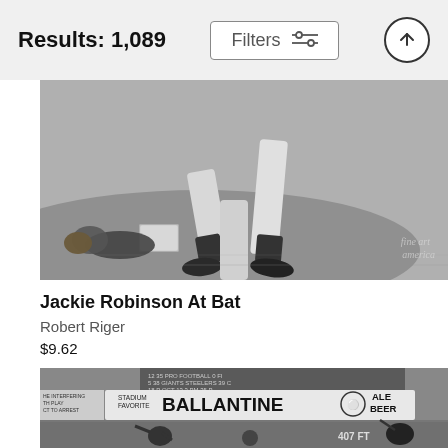Results: 1,089
Filters
[Figure (photo): Black and white photo of baseball players' legs and feet at a base, showing a play in action on dirt and grass field. Fine Art America watermark visible.]
Jackie Robinson At Bat
Robert Riger
$9.62
[Figure (photo): Black and white photo of a baseball stadium with a large Ballantine Ale Beer advertisement sign reading 'STADIUM FAVORITE BALLANTINE ALE BEER'. A pitcher is mid-throw, crowd fills the stands, marker shows '407 FT'. Scoreboard visible at top.]